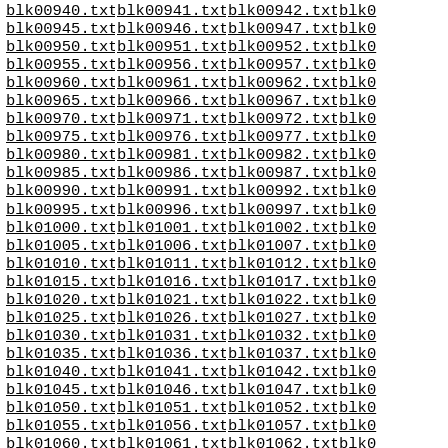blk00940.txt blk00941.txt blk00942.txt blk00943.txt blk00945.txt blk00946.txt blk00947.txt blk00948.txt blk00950.txt blk00951.txt blk00952.txt blk00953.txt blk00955.txt blk00956.txt blk00957.txt blk00958.txt blk00960.txt blk00961.txt blk00962.txt blk00963.txt blk00965.txt blk00966.txt blk00967.txt blk00968.txt blk00970.txt blk00971.txt blk00972.txt blk00973.txt blk00975.txt blk00976.txt blk00977.txt blk00978.txt blk00980.txt blk00981.txt blk00982.txt blk00983.txt blk00985.txt blk00986.txt blk00987.txt blk00988.txt blk00990.txt blk00991.txt blk00992.txt blk00993.txt blk00995.txt blk00996.txt blk00997.txt blk00998.txt blk01000.txt blk01001.txt blk01002.txt blk01003.txt blk01005.txt blk01006.txt blk01007.txt blk01008.txt blk01010.txt blk01011.txt blk01012.txt blk01013.txt blk01015.txt blk01016.txt blk01017.txt blk01018.txt blk01020.txt blk01021.txt blk01022.txt blk01023.txt blk01025.txt blk01026.txt blk01027.txt blk01028.txt blk01030.txt blk01031.txt blk01032.txt blk01033.txt blk01035.txt blk01036.txt blk01037.txt blk01038.txt blk01040.txt blk01041.txt blk01042.txt blk01043.txt blk01045.txt blk01046.txt blk01047.txt blk01048.txt blk01050.txt blk01051.txt blk01052.txt blk01053.txt blk01055.txt blk01056.txt blk01057.txt blk01058.txt blk01060.txt blk01061.txt blk01062.txt blk01063.txt blk01065.txt blk01066.txt blk01067.txt blk01068.txt